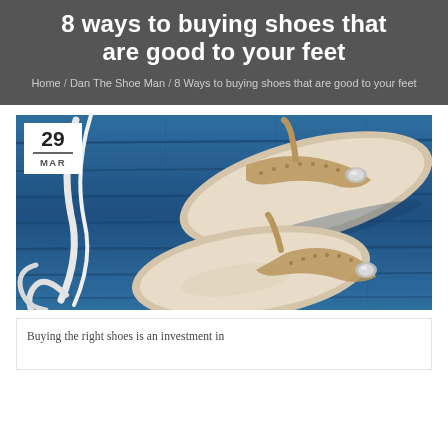8 Ways to buying shoes that are good to your feet
Home / Dan The Shoe Man / 8 Ways to buying shoes that are good to your feet
[Figure (photo): Two metallic/gold jeweled flip-flop sandals laid flat on a blue wooden plank background, with white rope/cord nearby. Date badge shows 29 MAR in upper left corner.]
Buying the right shoes is an investment in